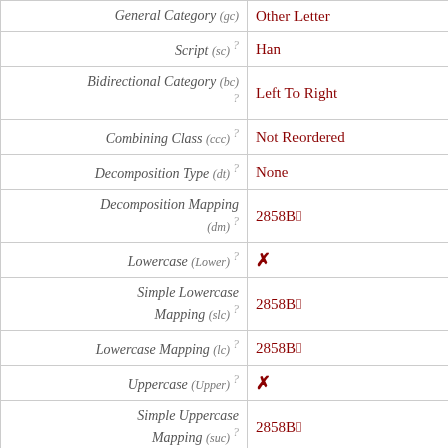| Property | Value |
| --- | --- |
| General Category (gc) | Other Letter |
| Script (sc) ? | Han |
| Bidirectional Category (bc) ? | Left To Right |
| Combining Class (ccc) ? | Not Reordered |
| Decomposition Type (dt) ? | None |
| Decomposition Mapping (dm) ? | 2858B𨖋 |
| Lowercase (Lower) ? | ✗ |
| Simple Lowercase Mapping (slc) ? | 2858B𨖋 |
| Lowercase Mapping (lc) ? | 2858B𨖋 |
| Uppercase (Upper) ? | ✗ |
| Simple Uppercase Mapping (suc) ? | 2858B𨖋 |
| Uppercase Mapping (uc) ? | 2858B𨖋 |
| Simple Titlecase Mapping | 2858B𨖋 |